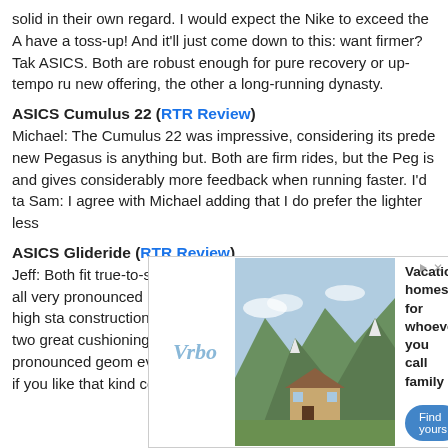solid in their own regard. I would expect the Nike to exceed the A have a toss-up! And it'll just come down to this: want firmer? Tak ASICS. Both are robust enough for pure recovery or up-tempo ru new offering, the other a long-running dynasty.
ASICS Cumulus 22 (RTR Review)
Michael: The Cumulus 22 was impressive, considering its prede new Pegasus is anything but. Both are firm rides, but the Peg is and gives considerably more feedback when running faster. I'd ta Sam: I agree with Michael adding that I do prefer the lighter less
ASICS Glideride (RTR Review)
Jeff: Both fit true-to-size. An unlikely matchup, the ASICS has all very pronounced rocker, a firm plastic plate, and a pretty high sta construction. Two ways to go about it, but the result is two great cushioning and protection, and I really like it's pronounced geom everyone. The Glideride is worth considering if you like that kind considering for everyone.
[Figure (other): Vrbo advertisement showing a mountain house vacation home with text 'Vacation homes for whoever you call family' and a 'Find yours' button.]